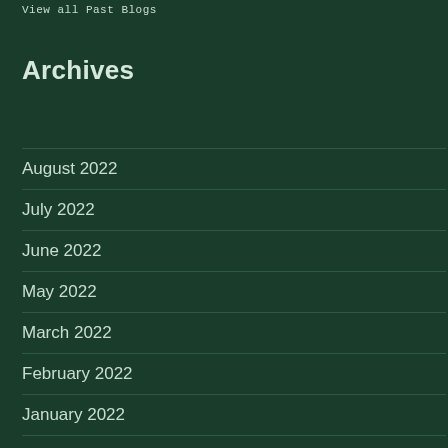View all Past Blogs
Archives
August 2022
July 2022
June 2022
May 2022
March 2022
February 2022
January 2022
December 2021
August 2021